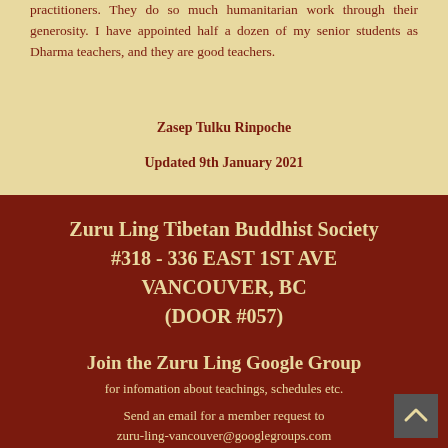practitioners. They do so much humanitarian work through their generosity. I have appointed half a dozen of my senior students as Dharma teachers, and they are good teachers.
Zasep Tulku Rinpoche
Updated 9th January 2021
Zuru Ling Tibetan Buddhist Society
#318 - 336 EAST 1ST AVE
VANCOUVER, BC
(DOOR #057)
Join the Zuru Ling Google Group
for infomation about teachings, schedules etc.
Send an email for a member request to
zuru-ling-vancouver@googlegroups.com